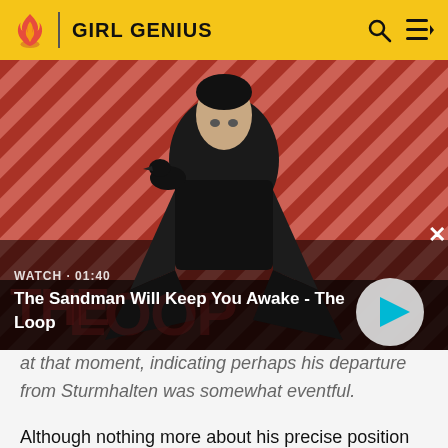GIRL GENIUS
[Figure (screenshot): Video thumbnail for 'The Sandman Will Keep You Awake - The Loop' showing a man in black with a crow on his shoulder against a red diagonal-stripe background. Shows WATCH · 01:40 label and a play button. Text overlay: 'The Sandman Will Keep You Awake - The Loop']
at that moment, indicating perhaps his departure from Sturmhalten was somewhat eventful.
Although nothing more about his precise position in Sturmhalten society is known, ever since Violetta appeared late in Volume VIII with a similar costume,